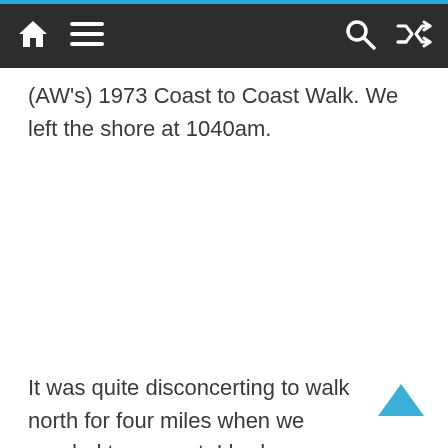Navigation bar with home, menu, search, and shuffle icons
(AW's) 1973 Coast to Coast Walk. We left the shore at 1040am.
It was quite disconcerting to walk north for four miles when we needed to go east. I had